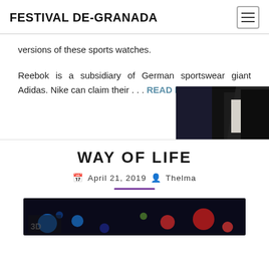FESTIVAL DE-GRANADA
versions of these sports watches.
Reebok is a subsidiary of German sportswear giant Adidas. Nike can claim their . . . READ MORE..
[Figure (photo): Partial photo of a person in dark clothing, cropped at bottom right of article section]
WAY OF LIFE
April 21, 2019  Thelma
[Figure (photo): Dark background image with colorful circles/bubbles, partially visible at bottom of page]